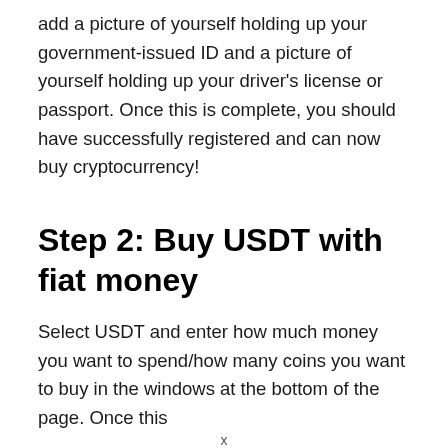add a picture of yourself holding up your government-issued ID and a picture of yourself holding up your driver's license or passport. Once this is complete, you should have successfully registered and can now buy cryptocurrency!
Step 2: Buy USDT with fiat money
Select USDT and enter how much money you want to spend/how many coins you want to buy in the windows at the bottom of the page. Once this
x